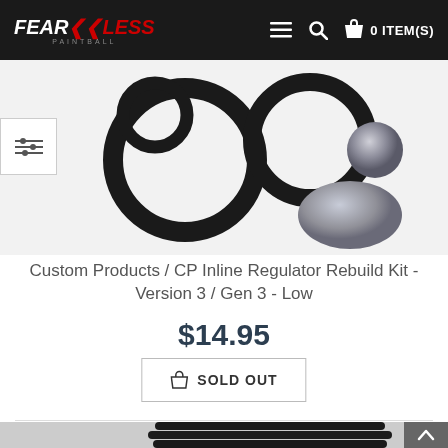FEAR<<LESS PAINTBALL — 0 ITEM(S)
[Figure (photo): O-rings and small metal ball/disc parts for a paintball regulator rebuild kit, shown on white background]
Custom Products / CP Inline Regulator Rebuild Kit - Version 3 / Gen 3 - Low
$14.95
SOLD OUT
[Figure (photo): Close-up of a black ribbed paintball regulator component on light background]